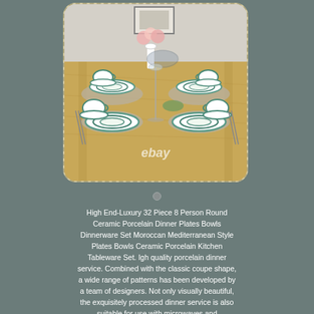[Figure (photo): A dining table set with 8 place settings of teal/blue Moroccan-style ceramic porcelain dinnerware including plates, bowls, and mugs. A white flower vase with pink flowers and a glass bowl are in the center. The image has an eBay watermark. The photo has a dashed border with rounded corners.]
High End-Luxury 32 Piece 8 Person Round Ceramic Porcelain Dinner Plates Bowls Dinnerware Set Moroccan Mediterranean Style Plates Bowls Ceramic Porcelain Kitchen Tableware Set. Igh quality porcelain dinner service. Combined with the classic coupe shape, a wide range of patterns has been developed by a team of designers. Not only visually beautiful, the exquisitely processed dinner service is also suitable for use with microwaves and dishwashers.